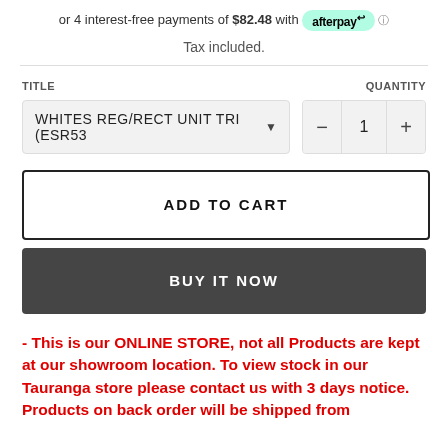or 4 interest-free payments of $82.48 with afterpay
Tax included.
TITLE
QUANTITY
WHITES REG/RECT UNIT TRI (ESR53...
1
ADD TO CART
BUY IT NOW
- This is our ONLINE STORE, not all Products are kept at our showroom location. To view stock in our Tauranga store please contact us with 3 days notice. Products on back order will be shipped from...